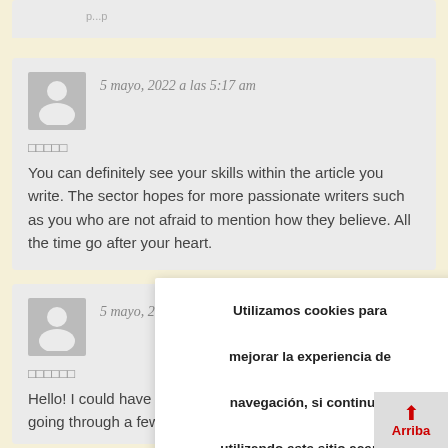(partial top comment card)
5 mayo, 2022 a las 5:17 am
□□□□□
You can definitely see your skills within the article you write. The sector hopes for more passionate writers such as you who are not afraid to mention how they believe. All the time go after your heart.
5 mayo, 2022 a las 7:13 am
□□□□□□
Hello! I could have sworn I've been to this blog before but going through a few
Utilizamos cookies para mejorar la experiencia de navegación, si continuas utilizando este sitio aceptas el uso de cookies. leer más. Aceptar
Arriba